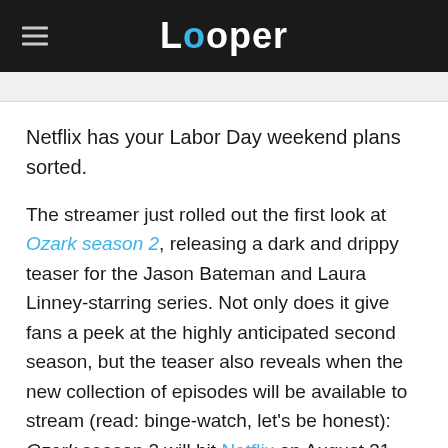Looper
Netflix has your Labor Day weekend plans sorted.
The streamer just rolled out the first look at Ozark season 2, releasing a dark and drippy teaser for the Jason Bateman and Laura Linney-starring series. Not only does it give fans a peek at the highly anticipated second season, but the teaser also reveals when the new collection of episodes will be available to stream (read: binge-watch, let's be honest): Ozark season 2 will hit Netflix on August 31, the Friday before Labor Day 2018 on September 3.